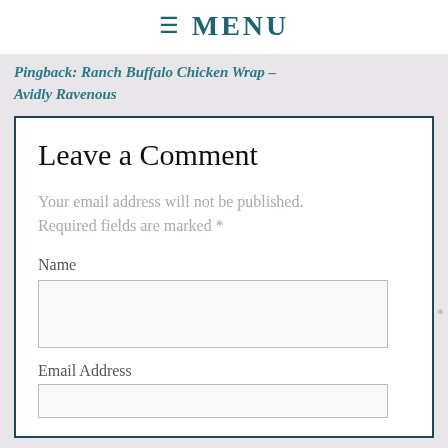≡ MENU
Pingback: Ranch Buffalo Chicken Wrap – Avidly Ravenous
Leave a Comment
Your email address will not be published. Required fields are marked *
Name
Email Address